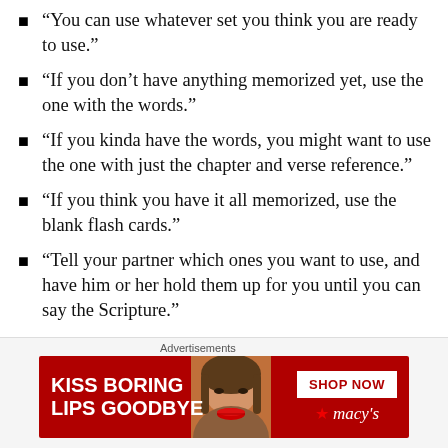“You can use whatever set you think you are ready to use.”
“If you don’t have anything memorized yet, use the one with the words.”
“If you kinda have the words, you might want to use the one with just the chapter and verse reference.”
“If you think you have it all memorized, use the blank flash cards.”
“Tell your partner which ones you want to use, and have him or her hold them up for you until you can say the Scripture.”
“Then trade, and you hold up the flash cards for your partner.”  (Ask for questions.  After you have
[Figure (infographic): Macy's advertisement banner: red background with 'KISS BORING LIPS GOODBYE' text on left, woman's face with red lips in center, 'SHOP NOW' button and Macy's star logo on right. Labeled 'Advertisements' above.]